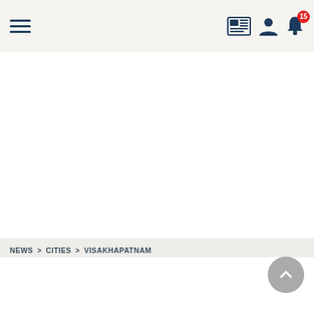☰  [newspaper icon] [user icon] [bell icon] 15
NEWS > CITIES > VISAKHAPATNAM
VISAKHAPATNAM